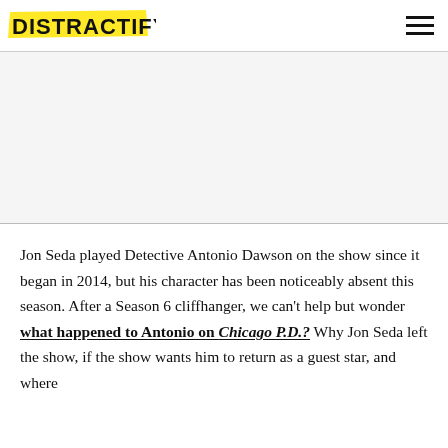DISTRACTIFY
[Figure (other): Gray advertisement placeholder area]
Jon Seda played Detective Antonio Dawson on the show since it began in 2014, but his character has been noticeably absent this season. After a Season 6 cliffhanger, we can't help but wonder what happened to Antonio on Chicago P.D.? Why Jon Seda left the show, if the show wants him to return as a guest star, and where